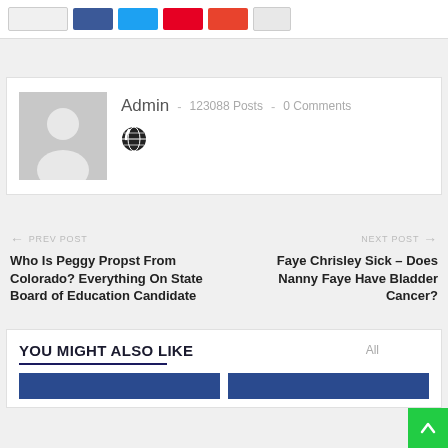[Figure (screenshot): Top share bar with input box and social share buttons (Facebook blue, Twitter cyan, Pinterest red, YouTube orange-red, blank white button)]
[Figure (infographic): Author box with gray placeholder avatar (silhouette person), name Admin, 123088 Posts, 0 Comments, and a globe icon]
Admin  ·  123088 Posts  ·  0 Comments
← PREV POST
Who Is Peggy Propst From Colorado? Everything On State Board of Education Candidate
NEXT POST →
Faye Chrisley Sick – Does Nanny Faye Have Bladder Cancer?
YOU MIGHT ALSO LIKE
All